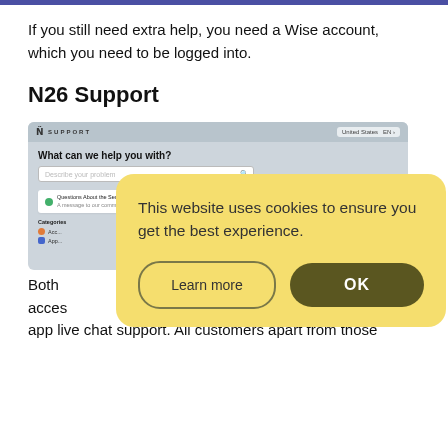If you still need extra help, you need a Wise account, which you need to be logged into.
N26 Support
[Figure (screenshot): N26 Support page screenshot showing 'What can we help you with?' search bar and categories, partially covered by a cookie consent overlay.]
This website uses cookies to ensure you get the best experience.
Both [partially obscured] have access [partially obscured] in-app live chat support. All customers apart from those
Learn more  OK